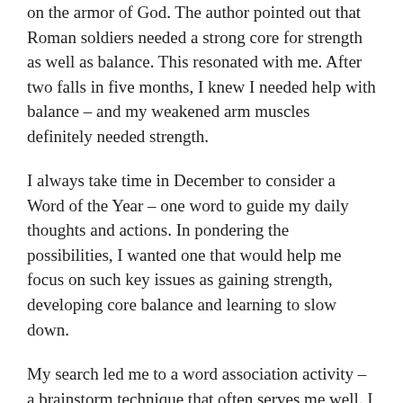on the armor of God. The author pointed out that Roman soldiers needed a strong core for strength as well as balance. This resonated with me. After two falls in five months, I knew I needed help with balance – and my weakened arm muscles definitely needed strength.
I always take time in December to consider a Word of the Year – one word to guide my daily thoughts and actions. In pondering the possibilities, I wanted one that would help me focus on such key issues as gaining strength, developing core balance and learning to slow down.
My search led me to a word association activity – a brainstorm technique that often serves me well. I started with RELEASE: this would help me let go of my constant need for productivity and my impossible pursuit of perfection.
I then pondered the word INTENTIONAL: a reminder to